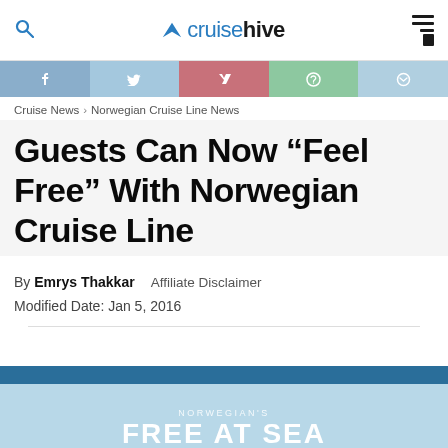cruisehive
Cruise News › Norwegian Cruise Line News
Guests Can Now “Feel Free” With Norwegian Cruise Line
By Emrys Thakkar   Affiliate Disclaimer
Modified Date: Jan 5, 2016
[Figure (screenshot): Norwegian Cruise Line 'Free at Sea' promotional image with teal/blue gradient background and white text]